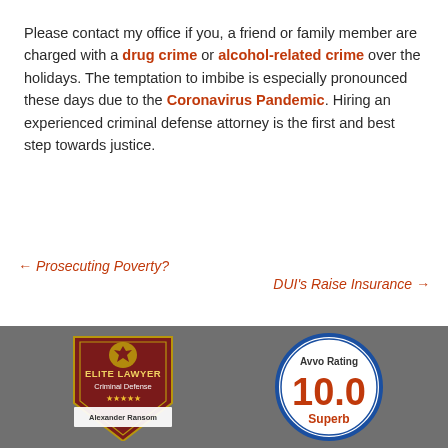Please contact my office if you, a friend or family member are charged with a drug crime or alcohol-related crime over the holidays. The temptation to imbibe is especially pronounced these days due to the Coronavirus Pandemic. Hiring an experienced criminal defense attorney is the first and best step towards justice.
← Prosecuting Poverty?
DUI's Raise Insurance →
[Figure (logo): Elite Lawyer Criminal Defense badge with eagle crest, five stars, and text 'Alexander Ransom']
[Figure (logo): Avvo Rating badge showing 10.0 Superb rating in a blue circle]